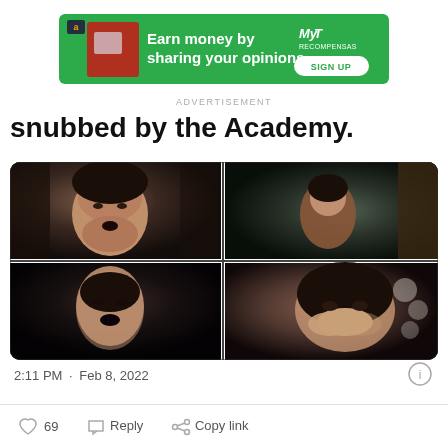[Figure (infographic): Green advertisement banner: 'Earn money by sharing your opinions' with Amazon logo, shirt image, MyRecompensas logo and SIGN UP button]
ADVERTISEMENT
snubbed by the Academy.
[Figure (photo): 2x2 collage of four dark movie stills showing a woman in various dramatic scenes]
2:11 PM · Feb 8, 2022
69  Reply  Copy link